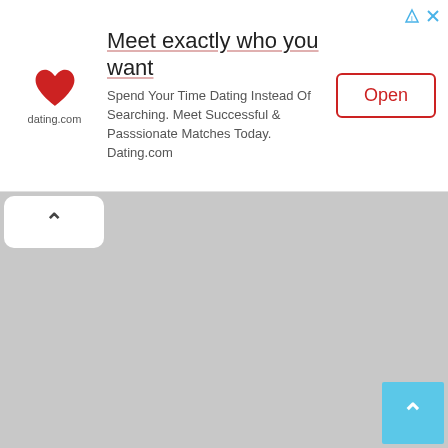[Figure (screenshot): Dating.com advertisement banner with heart logo, headline 'Meet exactly who you want', body text 'Spend Your Time Dating Instead Of Searching. Meet Successful & Passsionate Matches Today. Dating.com', and an 'Open' button with red border.]
[Figure (screenshot): Gray content area below the ad banner with a white collapse/chevron tab on the upper left and a light blue scroll-to-top button with upward chevron in the lower right corner.]